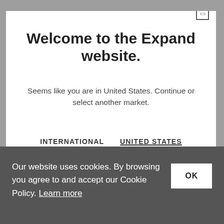Welcome to the Expand website.
Seems like you are in United States. Continue or select another market.
INTERNATIONAL
UNITED STATES
FRANCE
GERMANY
SWEDEN
Our website uses cookies. By browsing you agree to and accept our Cookie Policy. Learn more